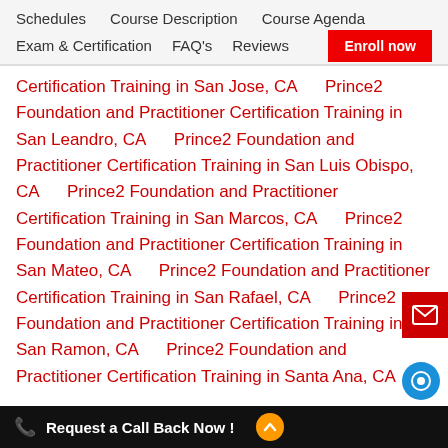Schedules   Course Description   Course Agenda   Exam & Certification   FAQ's   Reviews   Enroll now
Certification Training in San Jose, CA   Prince2 Foundation and Practitioner Certification Training in San Leandro, CA   Prince2 Foundation and Practitioner Certification Training in San Luis Obispo, CA   Prince2 Foundation and Practitioner Certification Training in San Marcos, CA   Prince2 Foundation and Practitioner Certification Training in San Mateo, CA   Prince2 Foundation and Practitioner Certification Training in San Rafael, CA   Prince2 Foundation and Practitioner Certification Training in San Ramon, CA   Prince2 Foundation and Practitioner Certification Training in Santa Ana, CA   Prince2 Foundation and Practitioner Certification Training in Santa Barbara, CA   Prince2 Foundation and Practitioner Certification Training in San
Request a Call Back Now !